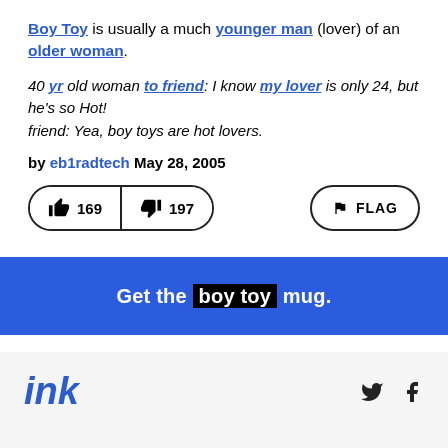Boy Toy is usually a much younger man (lover) of an older woman.
40 yr old woman to friend: I know my lover is only 24, but he's so Hot!
friend: Yea, boy toys are hot lovers.
by eb1radtech May 28, 2005
[Figure (other): Vote buttons showing thumbs up 169 and thumbs down 197, and a FLAG button]
Get the boy toy mug.
ink